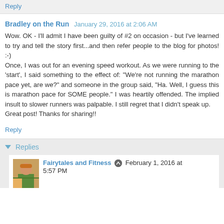Reply
Bradley on the Run  January 29, 2016 at 2:06 AM
Wow. OK - I'll admit I have been guilty of #2 on occasion - but I've learned to try and tell the story first...and then refer people to the blog for photos! :-)
Once, I was out for an evening speed workout. As we were running to the 'start', I said something to the effect of: "We're not running the marathon pace yet, are we?" and someone in the group said, "Ha. Well, I guess this is marathon pace for SOME people." I was heartily offended. The implied insult to slower runners was palpable. I still regret that I didn't speak up.
Great post! Thanks for sharing!!
Reply
Replies
Fairytales and Fitness  February 1, 2016 at 5:57 PM